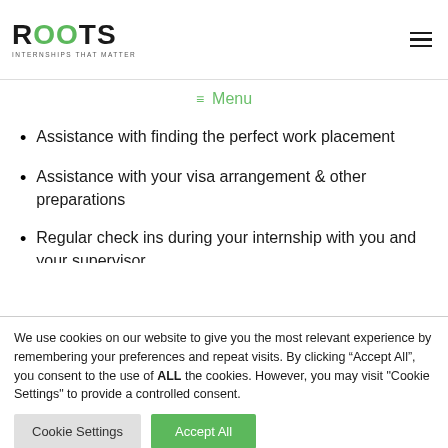ROOTS INTERNSHIPS THAT MATTER
Menu
Assistance with finding the perfect work placement
Assistance with your visa arrangement & other preparations
Regular check ins during your internship with you and your supervisor.
Your own account on a career development platform that
We use cookies on our website to give you the most relevant experience by remembering your preferences and repeat visits. By clicking “Accept All”, you consent to the use of ALL the cookies. However, you may visit "Cookie Settings" to provide a controlled consent.